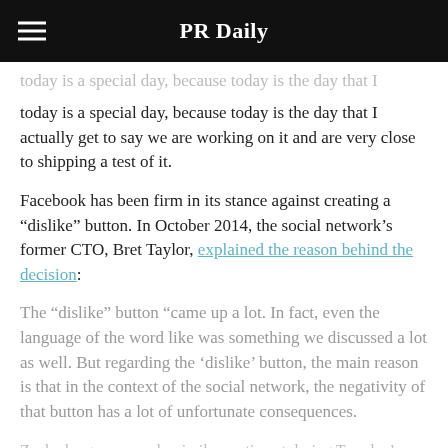PR Daily
today is a special day, because today is the day that I actually get to say we are working on it and are very close to shipping a test of it.
Facebook has been firm in its stance against creating a “dislike” button. In October 2014, the social network’s former CTO, Bret Taylor, explained the reason behind the decision:
The “dislike” button “came up a lot. In fact, even the language of the word like was something we discussed a lot as well. But regarding the ‘dislike’ button, the main reason is that in the context of the social network, the negativity of that button has a lot of unfortunate consequences.
Zuckerberg expressed a similar sentiment during Tuesday’s Q&A, saying the goal behind the “dislike” button is to make it a tool to “express empathy” not to hurt other users: